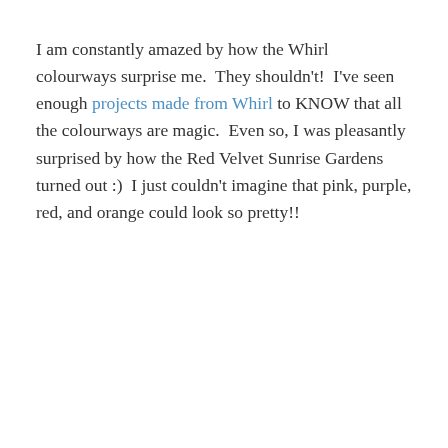I am constantly amazed by how the Whirl colourways surprise me.  They shouldn't!  I've seen enough projects made from Whirl to KNOW that all the colourways are magic.  Even so, I was pleasantly surprised by how the Red Velvet Sunrise Gardens turned out :)  I just couldn't imagine that pink, purple, red, and orange could look so pretty!!